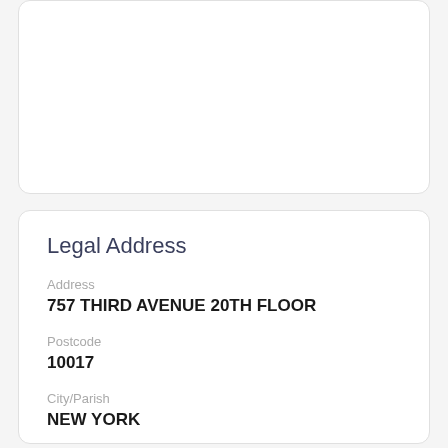Legal Address
Address
757 THIRD AVENUE 20TH FLOOR
Postcode
10017
City/Parish
NEW YORK